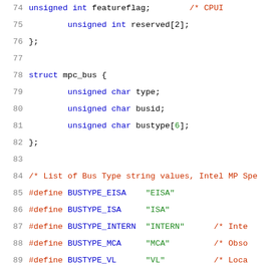[Figure (screenshot): C source code showing struct mpc_bus definition and #define BUSTYPE_* macros, with syntax highlighting: line numbers in gray, keywords in blue, string literals in green, comments in red/orange. Lines 74-95 visible.]